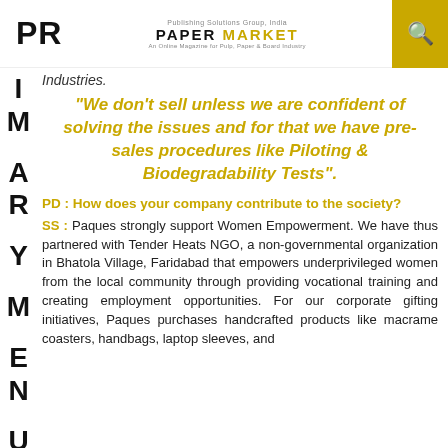PR | PAPER MARKET
Industries.
“We don’t sell unless we are confident of solving the issues and for that we have pre-sales procedures like Piloting & Biodegradability Tests”.
PD : How does your company contribute to the society?
SS : Paques strongly support Women Empowerment. We have thus partnered with Tender Heats NGO, a non-governmental organization in Bhatola Village, Faridabad that empowers underprivileged women from the local community through providing vocational training and creating employment opportunities. For our corporate gifting initiatives, Paques purchases handcrafted products like macrame coasters, handbags, laptop sleeves, and